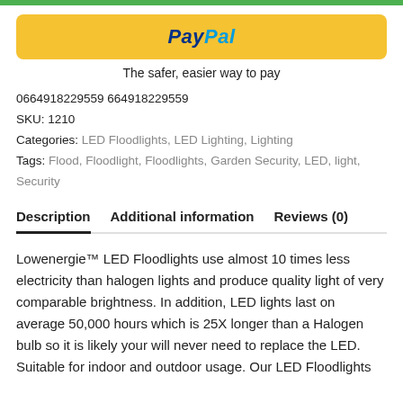[Figure (logo): PayPal button with yellow/gold background and PayPal logo in blue and light blue italic bold text]
The safer, easier way to pay
0664918229559 664918229559
SKU: 1210
Categories: LED Floodlights, LED Lighting, Lighting
Tags: Flood, Floodlight, Floodlights, Garden Security, LED, light, Security
Description	Additional information	Reviews (0)
Lowenergie™ LED Floodlights use almost 10 times less electricity than halogen lights and produce quality light of very comparable brightness. In addition, LED lights last on average 50,000 hours which is 25X longer than a Halogen bulb so it is likely your will never need to replace the LED. Suitable for indoor and outdoor usage. Our LED Floodlights